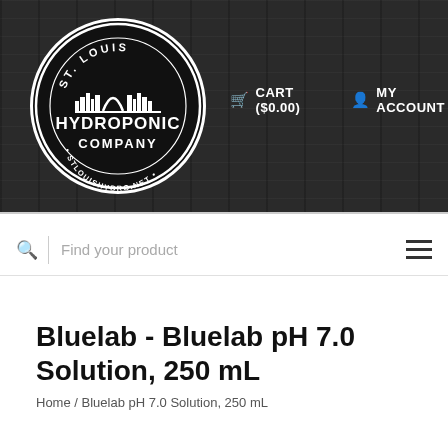[Figure (logo): St. Louis Hydroponic Company circular logo — black circle with white text 'ST. LOUIS' at top arc, city skyline silhouette, large text 'HYDROPONIC COMPANY' in center, 'STLOUISHYDRO.NET' along bottom arc]
CART ($0.00)
MY ACCOUNT
Find your product
Bluelab - Bluelab pH 7.0 Solution, 250 mL
Home / Bluelab pH 7.0 Solution, 250 mL